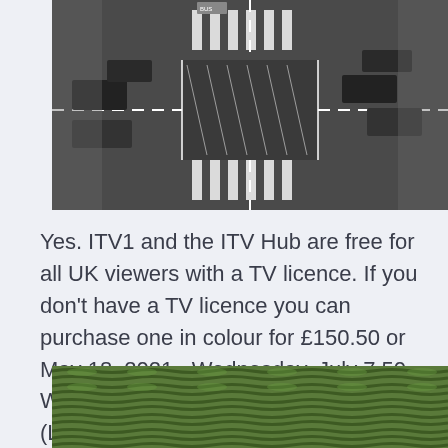[Figure (photo): Aerial black and white photograph of a road intersection with multiple vehicles including buses and cars, showing lane markings and pedestrian crossings.]
Yes. ITV1 and the ITV Hub are free for all UK viewers with a TV licence. If you don't have a TV licence you can purchase one in colour for £150.50 or May 18, 2021 · Wednesday, July 7 50 - Winners Match 47 vs Winners Match 48 (London; 3 p.m. ET, 9 p.m.
[Figure (photo): Aerial photograph of a green agricultural field showing rows of crops or tea plants with wave-like patterns.]